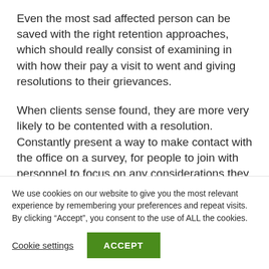Even the most sad affected person can be saved with the right retention approaches, which should really consist of examining in with how their pay a visit to went and giving resolutions to their grievances.
When clients sense found, they are more very likely to be contented with a resolution. Constantly present a way to make contact with the office on a survey, for people to join with personnel to focus on any considerations they may perhaps have had
We use cookies on our website to give you the most relevant experience by remembering your preferences and repeat visits. By clicking “Accept”, you consent to the use of ALL the cookies.
Cookie settings
ACCEPT